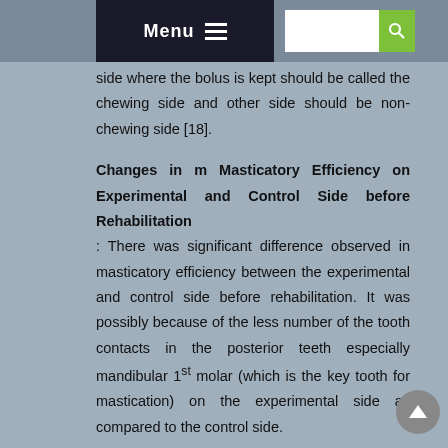Menu [icon] [search bar]
side where the bolus is kept should be called the chewing side and other side should be non-chewing side [18].
Changes in m Masticatory Efficiency on Experimental and Control Side before Rehabilitation
There was significant difference observed in masticatory efficiency between the experimental and control side before rehabilitation. It was possibly because of the less number of the tooth contacts in the posterior teeth especially mandibular 1st molar (which is the key tooth for mastication) on the experimental side as compared to the control side.